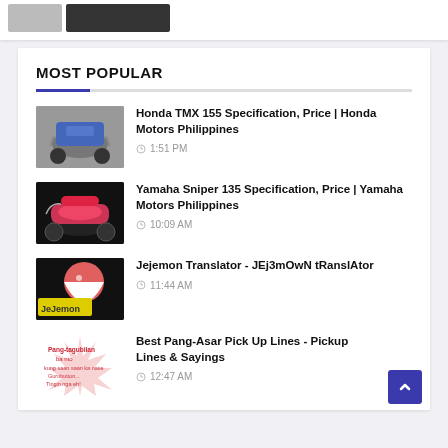[Figure (screenshot): Top partial card with two thumbnail images (gray and dark rectangles)]
MOST POPULAR
[Figure (photo): Honda TMX 155 motorcycle on gray background]
Honda TMX 155 Specification, Price | Honda Motors Philippines
1:51 PM
[Figure (photo): Yamaha Sniper 135 motorcycle on black background]
Yamaha Sniper 135 Specification, Price | Yamaha Motors Philippines
10:09 AM
[Figure (photo): Jejemon logo with pink ball and yellow text on black background]
Jejemon Translator - JEj3mOwN tRanslAtor
11:44 AM
[Figure (photo): Best Pang-Asar Pick Up Lines thumbnail with pink text on white burst background]
Best Pang-Asar Pick Up Lines - Pickup Lines & Sayings
12:47 AM